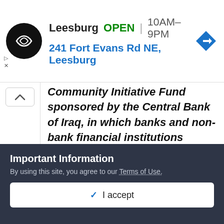[Figure (screenshot): Advertisement banner: Leesburg store logo (black circle with white symbol), text 'Leesburg OPEN | 10AM–9PM', address '241 Fort Evans Rd NE, Leesburg', blue navigation arrow icon, skip/close ad controls]
Community Initiative Fund sponsored by the Central Bank of Iraq, in which banks and non-bank financial institutions participate, and supported by the Association of Iraqi Private Banks.
His Excellency the Governor stressed during his speech at
Important Information
By using this site, you agree to our Terms of Use.
✓ I accept